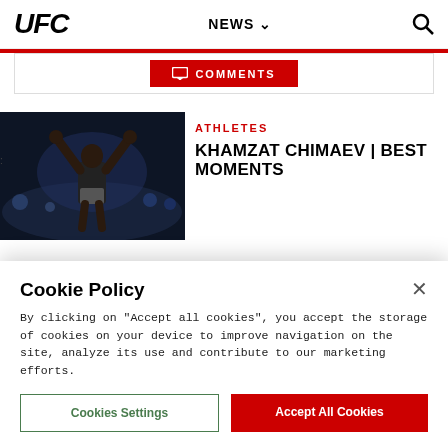UFC  NEWS  🔍
COMMENTS
[Figure (photo): UFC fighter Khamzat Chimaev raising arms in victory against a crowd background with arena lighting]
ATHLETES
KHAMZAT CHIMAEV | BEST MOMENTS
Cookie Policy
By clicking on "Accept all cookies", you accept the storage of cookies on your device to improve navigation on the site, analyze its use and contribute to our marketing efforts.
Cookies Settings
Accept All Cookies